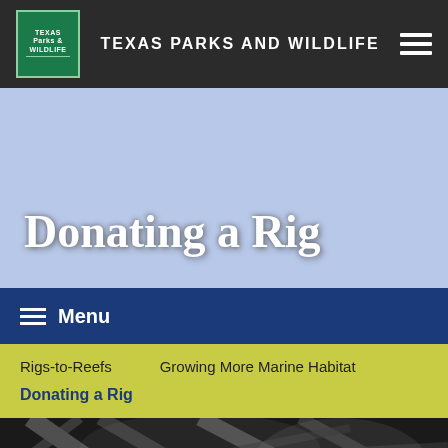TEXAS PARKS AND WILDLIFE
Donating a Rig
Menu
Rigs-to-Reefs
Growing More Marine Habitat
Donating a Rig
[Figure (photo): Underwater black and white photo showing metal rig structure]